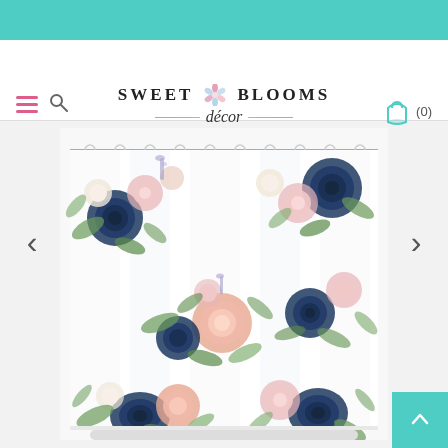[Figure (other): Teal top navigation bar]
Sweet Blooms Décor - website header with hamburger menu, search icon, logo, and cart (0)
[Figure (photo): Floral shower curtain with navy blue and blush pink roses on white background, hanging from a curtain rod with rings]
[Figure (other): Left navigation arrow chevron]
[Figure (other): Right navigation arrow chevron]
[Figure (other): Teal scroll-to-top button with upward arrow]